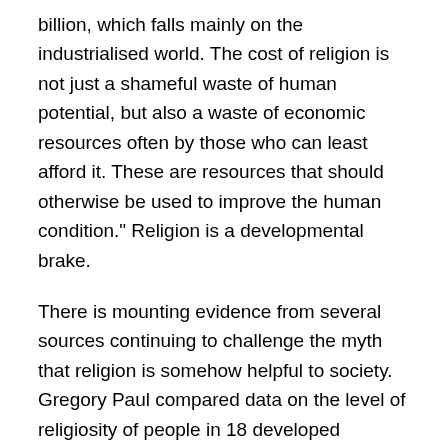billion, which falls mainly on the industrialised world. The cost of religion is not just a shameful waste of human potential, but also a waste of economic resources often by those who can least afford it. These are resources that should otherwise be used to improve the human condition." Religion is a developmental brake.
There is mounting evidence from several sources continuing to challenge the myth that religion is somehow helpful to society. Gregory Paul compared data on the level of religiosity of people in 18 developed countries with data on various social ills. If religion is beneficial the level of faith in the population should correlate with people doing fewer bad things. But it doesn't. The analysis revealed that higher rates of belief in a creator correlate with higher rates of homicide, juvenile and early adult mortality, STD infection rates, teen pregnancy and